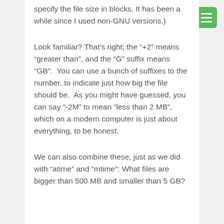specify the file size in blocks. It has been a while since I used non-GNU versions.)
Look familiar? That's right; the "+2" means "greater than", and the "G" suffix means "GB".  You can use a bunch of suffixes to the number, to indicate just how big the file should be.  As you might have guessed, you can say "-2M" to mean "less than 2 MB", which on a modern computer is just about everything, to be honest.
We can also combine these, just as we did with "atime" and "mtime": What files are bigger than 500 MB and smaller than 5 GB?